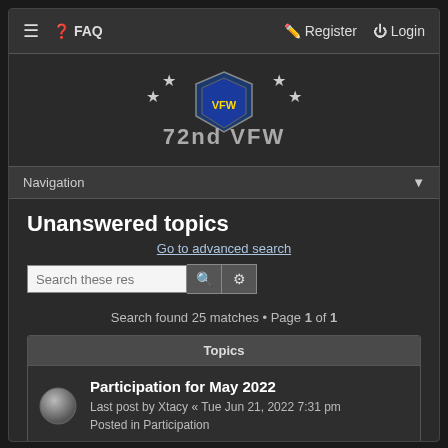≡  FAQ    Register  Login
[Figure (logo): 72nd VFW logo with military shield and stars]
Navigation ▼
Unanswered topics
Go to advanced search
Search found 25 matches • Page 1 of 1
| Topics |
| --- |
| Participation for May 2022
Last post by Xtacy « Tue Jun 21, 2022 7:31 pm
Posted in Participation |
| Participation for April 2021
Last post by Xtacy « Mon May 17, 2021 2:49 am
Posted in Participation |